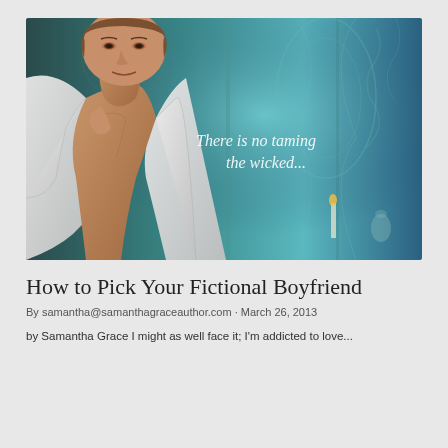[Figure (photo): Book cover image showing a man with an open white shirt revealing his chest, against a teal/blue ornate background with text overlay reading 'There is no taming the wicked...']
How to Pick Your Fictional Boyfriend
By samantha@samanthagraceauthor.com · March 26, 2013
by Samantha Grace I might as well face it; I'm addicted to love...